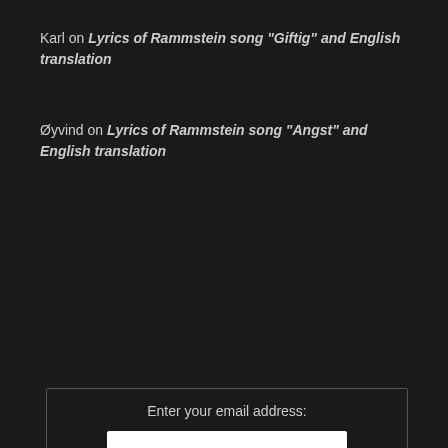Karl on Lyrics of Rammstein song “Giftig” and English translation
Øyvind on Lyrics of Rammstein song “Angst” and English translation
[Figure (other): Facebook like us on facebook button/widget with Facebook logo F and thumbs up icon]
[Figure (other): Twitter Follow us on Twitter button with bird logo]
Enter your email address:
[Figure (other): Email input field (white rectangle) for entering email address]
Subscribe to news